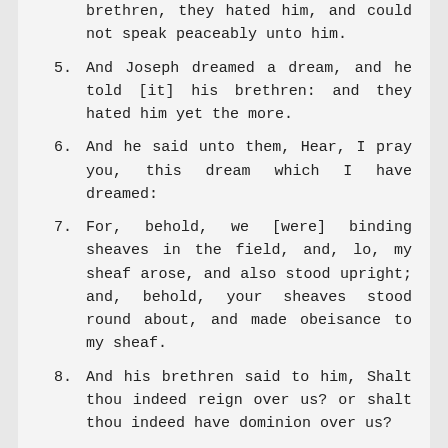brethren, they hated him, and could not speak peaceably unto him.
5. And Joseph dreamed a dream, and he told [it] his brethren: and they hated him yet the more.
6. And he said unto them, Hear, I pray you, this dream which I have dreamed:
7. For, behold, we [were] binding sheaves in the field, and, lo, my sheaf arose, and also stood upright; and, behold, your sheaves stood round about, and made obeisance to my sheaf.
8. And his brethren said to him, Shalt thou indeed reign over us? or shalt thou indeed have dominion over us?